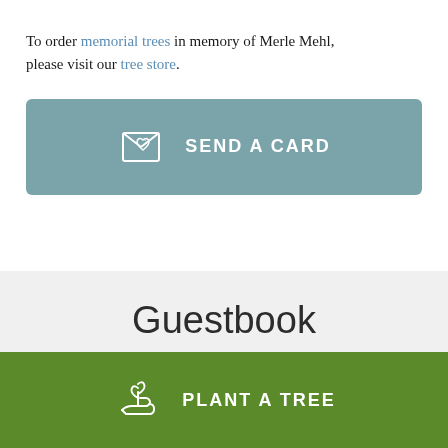To order memorial trees in memory of Merle Mehl, please visit our tree store.
[Figure (other): Teal button with card icon and text SEND A CARD]
Guestbook
[Figure (other): Green button with plant/tree icon and text PLANT A TREE]